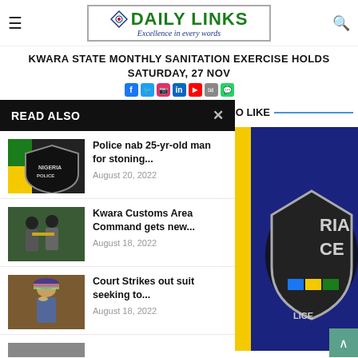DAILY LINKS — Excellence in every words
KWARA STATE MONTHLY SANITATION EXERCISE HOLDS SATURDAY, 27 NOV
READ ALSO
Police nab 25-yr-old man for stoning... — August 20, 2022
Kwara Customs Area Command gets new... — August 18, 2022
Court Strikes out suit seeking to... — August 18, 2022
YOU MAY ALSO LIKE
[Figure (photo): Nigeria Police Force shield/badge close-up on blue and yellow background]